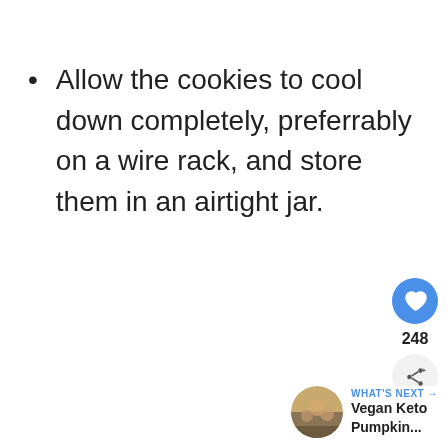Allow the cookies to cool down completely, preferrably on a wire rack, and store them in an airtight jar.
[Figure (infographic): Social sidebar with heart/like button showing 248 likes, and a share button]
[Figure (infographic): What's Next widget showing a thumbnail image of cookies and text 'Vegan Keto Pumpkin...']